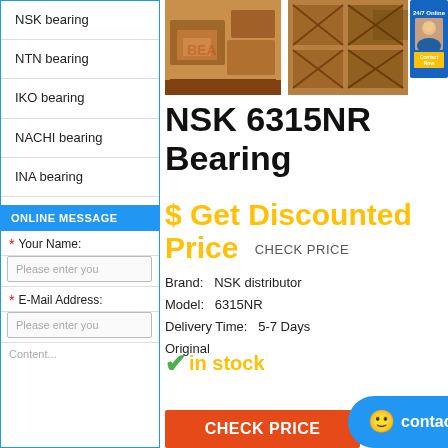NSK bearing
NTN bearing
IKO bearing
NACHI bearing
INA bearing
ONLINE MESSAGE
* Your Name:
Please enter you
* E-Mail Address:
Please enter you
[Figure (photo): Product photo showing cardboard boxes being loaded/stored, with warehouse crates in background]
NSK 6315NR Bearing
$ Get Discounted Price  CHECK PRICE
Brand:   NSK distributor
Model:   6315NR
Delivery Time:   5-7 Days
Original
✓in stock
CHECK PRICE
contact